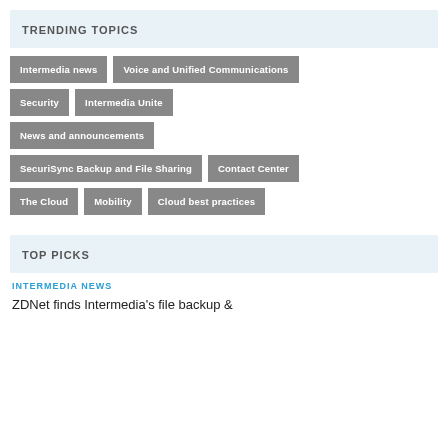TRENDING TOPICS
Intermedia news
Voice and Unified Communications
Security
Intermedia Unite
News and announcements
SecuriSync Backup and File Sharing
Contact Center
The Cloud
Mobility
Cloud best practices
TOP PICKS
INTERMEDIA NEWS
ZDNet finds Intermedia's file backup &